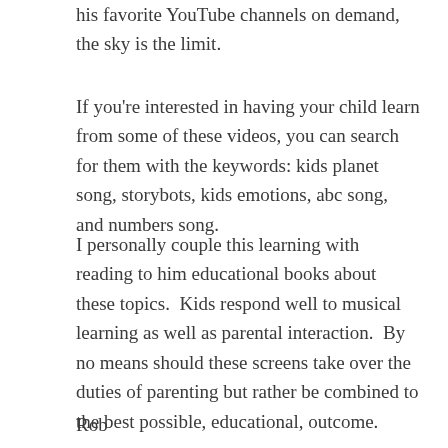his favorite YouTube channels on demand, the sky is the limit.
If you're interested in having your child learn from some of these videos, you can search for them with the keywords: kids planet song, storybots, kids emotions, abc song, and numbers song.
I personally couple this learning with reading to him educational books about these topics.  Kids respond well to musical learning as well as parental interaction.  By no means should these screens take over the duties of parenting but rather be combined to the best possible, educational, outcome.
Rob